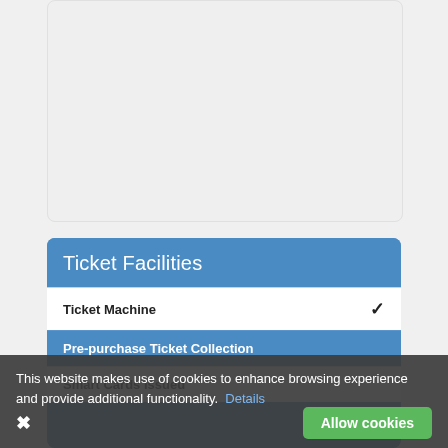[Figure (photo): Gray placeholder image area at the top of the page]
Ticket Facilities
| Facility | Available |
| --- | --- |
| Ticket Machine | ✔ |
| Pre-purchase Ticket Collection |  |
| Smart Cards Issued |  |
This website makes use of cookies to enhance browsing experience and provide additional functionality.  Details
Allow cookies